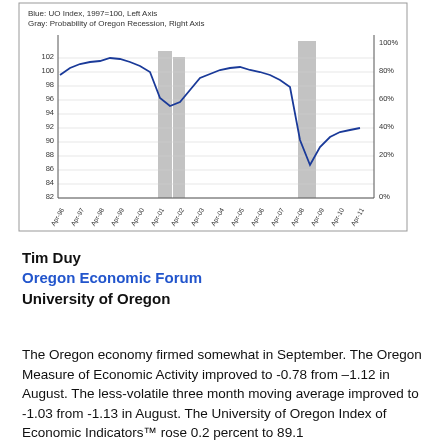[Figure (continuous-plot): Dual-axis line and bar chart. Blue line: UO Index, 1997=100, Left Axis ranging from 82 to 102. Gray bars: Probability of Oregon Recession, Right Axis 0% to 100%. X-axis shows Apr-96 through Apr-11. Two gray recession bar clusters visible around 2001-2003 and 2008-2009. Blue line peaks near 101-102 in late 1990s, dips to ~95 around 2001-2002, recovers, then drops sharply to ~84 in 2009, recovering to ~92 by Apr-11.]
Tim Duy
Oregon Economic Forum
University of Oregon
The Oregon economy firmed somewhat in September. The Oregon Measure of Economic Activity improved to -0.78 from –1.12 in August. The less-volatile three month moving average improved to -1.03 from -1.13 in August. The University of Oregon Index of Economic Indicators™ rose 0.2 percent to 89.1